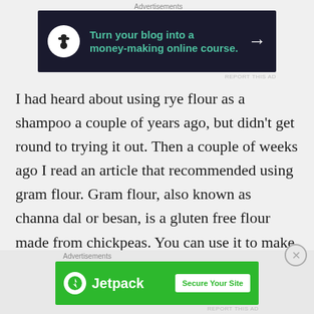[Figure (screenshot): Advertisement banner: dark background with tree/bonsai icon, text 'Turn your blog into a money-making online course.' with arrow]
I had heard about using rye flour as a shampoo a couple of years ago, but didn't get round to trying it out. Then a couple of weeks ago I read an article that recommended using gram flour. Gram flour, also known as channa dal or besan, is a gluten free flour made from chickpeas. You can use it to make tortillas, flatbreads and as a coating for frying. I tried making flatbreads with
[Figure (screenshot): Advertisement banner: green background with Jetpack logo and 'Secure Your Site' button]